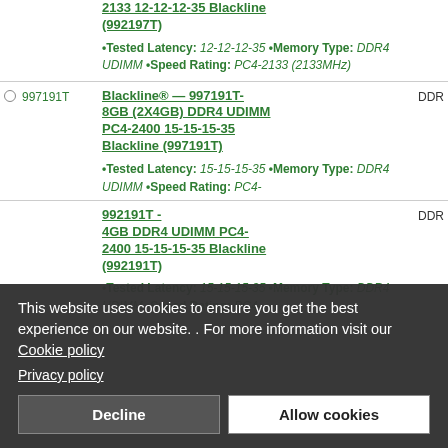2133 12-12-12-35 Blackline (992197T) •Tested Latency: 12-12-12-35 •Memory Type: DDR4 UDIMM •Speed Rating: PC4-2133 (2133MHz)
997191T — Blackline® — 997191T-8GB (2X4GB) DDR4 UDIMM PC4-2400 15-15-15-35 Blackline (997191T) •Tested Latency: 15-15-15-35 •Memory Type: DDR4 UDIMM •Speed Rating: PC4-
DDR
992191T-4GB DDR4 UDIMM PC4-2400 15-15-15-35 Blackline (992191T) •Tested Latency: 15-15-15-35 •Memory Type: DDR4 UDIMM •Speed Rating: PC4-
DDR
This website uses cookies to ensure you get the best experience on our website. . For more information visit our Cookie policy Privacy policy
Decline
Allow cookies